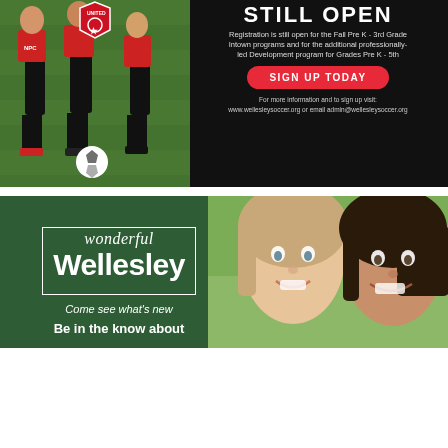[Figure (photo): Soccer advertisement with dark background. Left side shows youth soccer players in red and black uniforms on a grass field with a soccer ball. Right side has text on black background: 'STILL OPEN' in large white letters, registration info, a red 'SIGN UP TODAY' button, and contact website/email for Wellesley soccer.]
[Figure (photo): Wonderful Wellesley advertisement with dark green background. Left side shows 'wonderful Wellesley' branding text with 'Come see what's new' and 'Be in the know about' taglines. Right side shows two smiling young girls (one with light hair, one with dark hair) against a green outdoor background.]